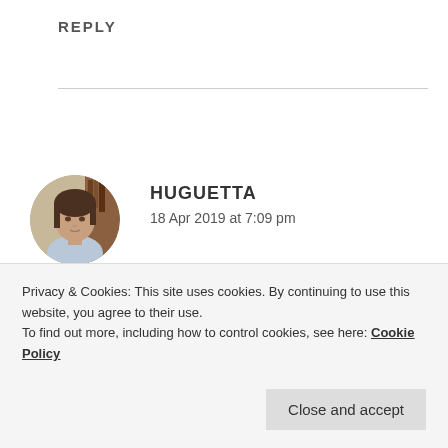REPLY
[Figure (photo): Circular avatar photo of a woman named Huguetta]
HUGUETTA
18 Apr 2019 at 7:09 pm
Such short and very rich journey! Hope it will not
Privacy & Cookies: This site uses cookies. By continuing to use this website, you agree to their use.
To find out more, including how to control cookies, see here: Cookie Policy
Close and accept